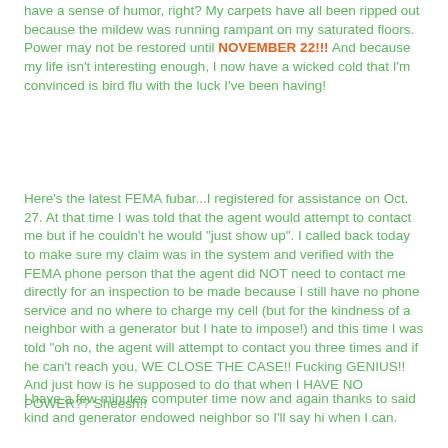have a sense of humor, right? My carpets have all been ripped out because the mildew was running rampant on my saturated floors. Power may not be restored until NOVEMBER 22!!! And because my life isn't interesting enough, I now have a wicked cold that I'm convinced is bird flu with the luck I've been having!
Here's the latest FEMA fubar...I registered for assistance on Oct. 27. At that time I was told that the agent would attempt to contact me but if he couldn't he would "just show up". I called back today to make sure my claim was in the system and verified with the FEMA phone person that the agent did NOT need to contact me directly for an inspection to be made because I still have no phone service and no where to charge my cell (but for the kindness of a neighbor with a generator but I hate to impose!) and this time I was told "oh no, the agent will attempt to contact you three times and if he can't reach you, WE CLOSE THE CASE!! Fucking GENIUS!! And just how is he supposed to do that when I HAVE NO POWER?? Sheesh!!
I have a few minutes computer time now and again thanks to said kind and generator endowed neighbor so I'll say hi when I can.